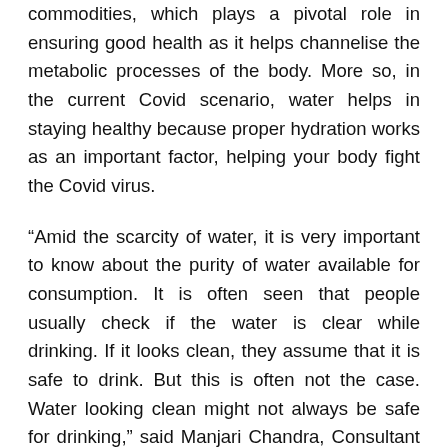commodities, which plays a pivotal role in ensuring good health as it helps channelise the metabolic processes of the body. More so, in the current Covid scenario, water helps in staying healthy because proper hydration works as an important factor, helping your body fight the Covid virus.
“Amid the scarcity of water, it is very important to know about the purity of water available for consumption. It is often seen that people usually check if the water is clear while drinking. If it looks clean, they assume that it is safe to drink. But this is often not the case. Water looking clean might not always be safe for drinking,” said Manjari Chandra, Consultant Nutritional Medicine, speaking on the essence of knowing healthy water.
“Healthy drinking water is very important for good health. But unhealthy water that the majority of urban Indians drink to survive due to the lack of knowledge about healthy water, is